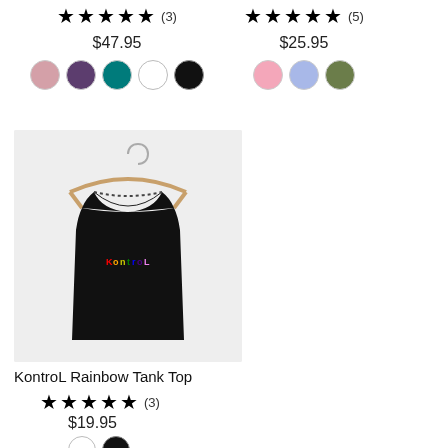★★★★★ (3) — $47.95 — colors: pink, purple, teal, white, black
★★★★★ (5) — $25.95 — colors: pink, blue, olive
[Figure (photo): Black KontroL Rainbow Tank Top on a wooden hanger against a light gray background]
KontroL Rainbow Tank Top
★★★★★ (3)
$19.95
Color swatches: white/gray, black